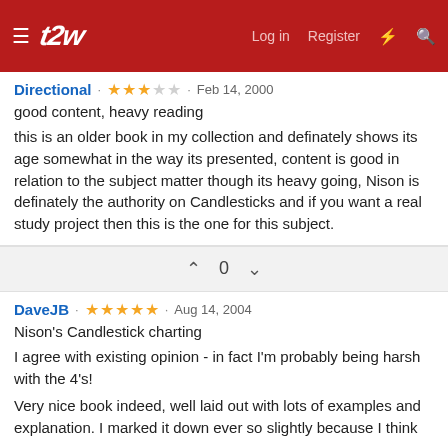t2w · Log in · Register
Directional · ★★★☆☆ · Feb 14, 2000
good content, heavy reading
this is an older book in my collection and definately shows its age somewhat in the way its presented, content is good in relation to the subject matter though its heavy going, Nison is definately the authority on Candlesticks and if you want a real study project then this is the one for this subject.
0
DaveJB · ★★★★★ · Aug 14, 2004
Nison's Candlestick charting
I agree with existing opinion - in fact I'm probably being harsh with the 4's!
Very nice book indeed, well laid out with lots of examples and explanation. I marked it down ever so slightly because I think